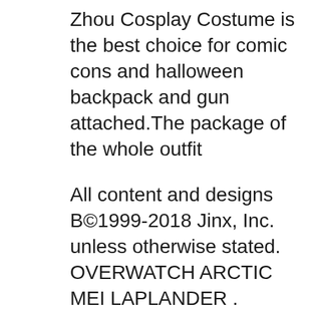Zhou Cosplay Costume is the best choice for comic cons and halloween backpack and gun attached.The package of the whole outfit
All content and designs B©1999-2018 Jinx, Inc. unless otherwise stated. OVERWATCH ARCTIC MEI LAPLANDER . Overwatch MVP Laptop Backpack. Buy Overwatch toys, collectibles and fun stuff at Entertainment Earth. Mint Condition Guaranteed. FREE SHIPPING on eligible purchases. Shop now!
Mei from Overwatch Full Cosplay in Clothing > Women's Clothing. -Full MicCostumes Mei cosplay, Backpack/tank and canteen were never